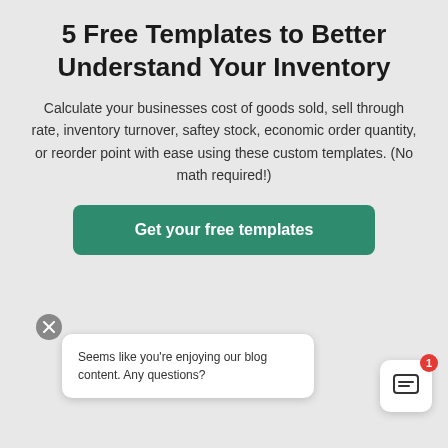5 Free Templates to Better Understand Your Inventory
Calculate your businesses cost of goods sold, sell through rate, inventory turnover, saftey stock, economic order quantity, or reorder point with ease using these custom templates. (No math required!)
Get your free templates
Seems like you’re enjoying our blog content. Any questions?